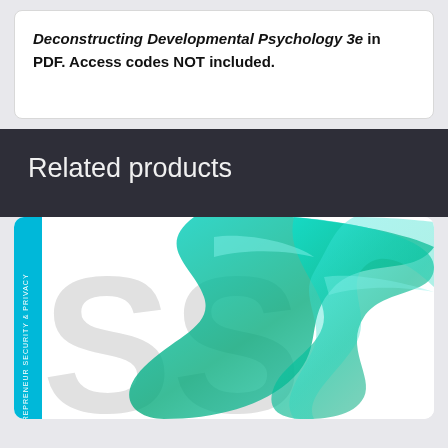Deconstructing Developmental Psychology 3e in PDF. Access codes NOT included.
Related products
[Figure (photo): Book cover with abstract flowing teal and green wave design on white background, with cyan spine showing vertical text. Large grey letters visible.]